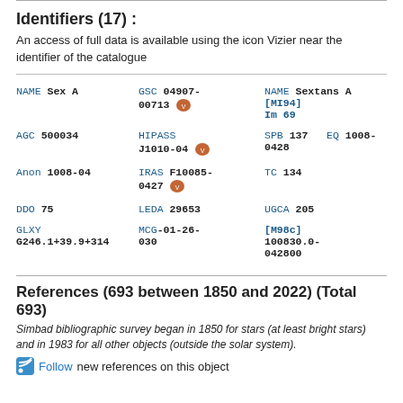Identifiers (17) :
An access of full data is available using the icon Vizier near the identifier of the catalogue
| Col1 | Col2 | Col3 |
| --- | --- | --- |
| NAME Sex A | GSC 04907-00713 [vizier] | NAME Sextans A  [MI94] Im 69 |
| AGC 500034 | HIPASS J1010-04 [vizier] | SPB 137  EQ 1008-0428 |
| Anon 1008-04 | IRAS F10085-0427 [vizier] | TC 134 |
| DDO 75 | LEDA 29653 | UGCA 205 |
| GLXY G246.1+39.9+314 | MCG-01-26-030 | [M98c] 100830.0-042800 |
References (693 between 1850 and 2022) (Total 693)
Simbad bibliographic survey began in 1850 for stars (at least bright stars) and in 1983 for all other objects (outside the solar system).
Follow new references on this object